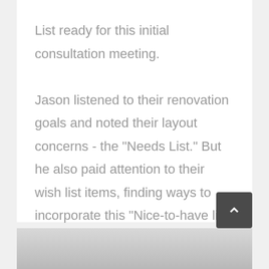List ready for this initial consultation meeting. Jason listened to their renovation goals and noted their layout concerns - the "Needs List." But he also paid attention to their wish list items, finding ways to incorporate this "Nice-to-have list" into the design later on. Jason designed 3 different layout options and walked the homeowners through the pros and cons of
[Figure (photo): Partial view of a gray/silver object at the bottom of the page, likely a kitchen or interior design element]